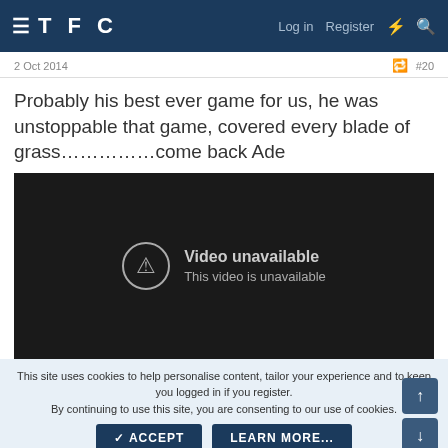TFC — Log in  Register
2 Oct 2014  #20
Probably his best ever game for us, he was unstoppable that game, covered every blade of grass……………come back Ade
[Figure (screenshot): Embedded YouTube video player showing 'Video unavailable — This video is unavailable' error message on a black background]
This site uses cookies to help personalise content, tailor your experience and to keep you logged in if you register.
By continuing to use this site, you are consenting to our use of cookies.